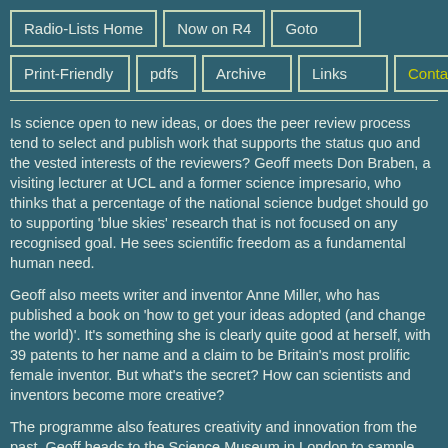Radio-Lists Home | Now on R4 | Goto | Print-Friendly | pdfs | Archive | Links | Contact
Is science open to new ideas, or does the peer review process tend to select and publish work that supports the status quo and the vested interests of the reviewers? Geoff meets Don Braben, a visiting lecturer at UCL and a former science impresario, who thinks that a percentage of the national science budget should go to supporting 'blue skies' research that is not focused on any recognised goal. He sees scientific freedom as a fundamental human need.
Geoff also meets writer and inventor Anne Miller, who has published a book on 'how to get your ideas adopted (and change the world)'. It's something she is clearly quite good at herself, with 39 patents to her name and a claim to be Britain's most prolific female inventor. But what's the secret? How can scientists and inventors become more creative?
The programme also features creativity and innovation from the past. Geoff heads to the Science Museum in London to sample the Inventors Journey trail around the 10 exhibits proposed by curators as the most iconic exhibits in the museum. Visitors and listeners can vote